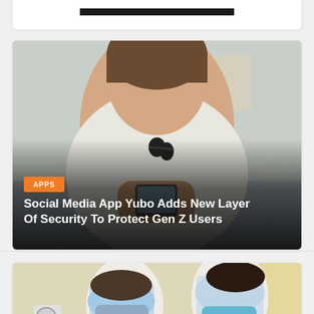[Figure (photo): Partial top of a card with a dark image strip, cropped at top of page]
[Figure (photo): Person in white t-shirt holding a smartphone, sunglasses hanging on collar, with orange APPS badge and article headline overlay]
Social Media App Yubo Adds New Layer Of Security To Protect Gen Z Users
[Figure (photo): Two healthcare workers wearing face shields and masks, working at a medical station]